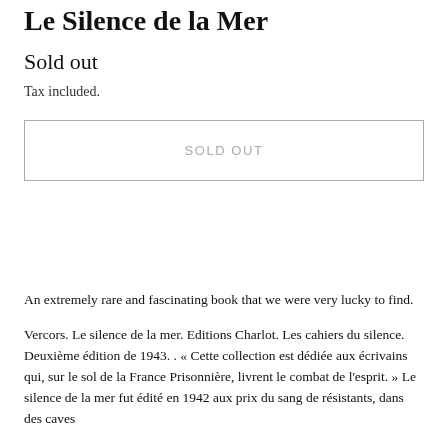Le Silence de la Mer
Sold out
Tax included.
SOLD OUT
An extremely rare and fascinating book that we were very lucky to find.
Vercors. Le silence de la mer. Editions Charlot. Les cahiers du silence. Deuxième édition de 1943. . « Cette collection est dédiée aux écrivains qui, sur le sol de la France Prisonnière, livrent le combat de l'esprit. » Le silence de la mer fut édité en 1942 aux prix du sang de résistants, dans des caves